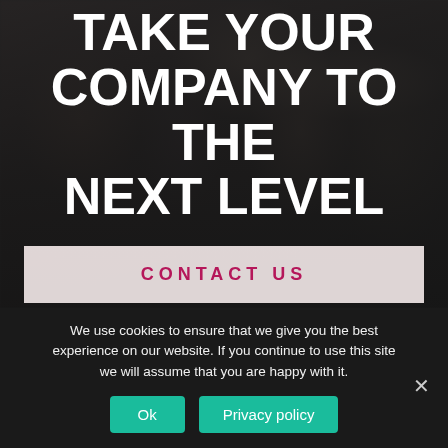[Figure (photo): Dark blurred background photo of a crowd of people on a street]
TAKE YOUR COMPANY TO THE NEXT LEVEL
CONTACT US
We use cookies to ensure that we give you the best experience on our website. If you continue to use this site we will assume that you are happy with it.
Ok
Privacy policy